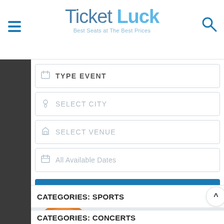[Figure (logo): TicketLuck logo with tagline 'Best Seats at The Best Prices']
TYPE EVENT
SELECT CITY
SELECT VENUE
All Available Dates
FIND
[Figure (illustration): 100% Satisfaction Guaranteed badge with orange circular seal, text 'Sati... Gu... View...']
CATEGORIES: SPORTS
CATEGORIES: CONCERTS